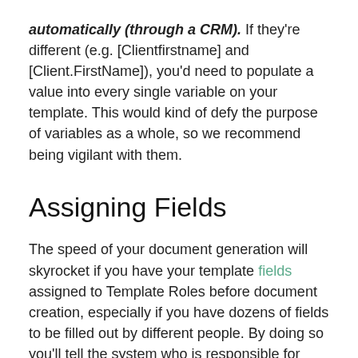automatically (through a CRM). If they're different (e.g. [Clientfirstname] and [Client.FirstName]), you'd need to populate a value into every single variable on your template. This would kind of defy the purpose of variables as a whole, so we recommend being vigilant with them.
Assigning Fields
The speed of your document generation will skyrocket if you have your template fields assigned to Template Roles before document creation, especially if you have dozens of fields to be filled out by different people. By doing so you'll tell the system who is responsible for signing in advance, and it's only a one-time setup. Simply click on a field to assign and let